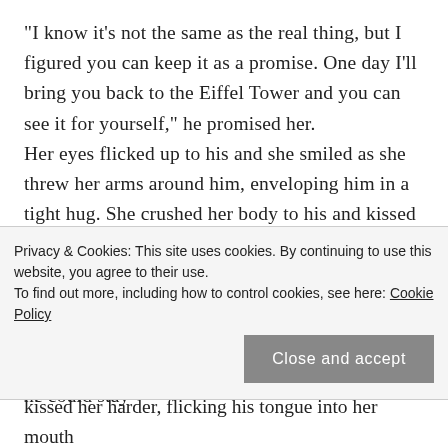“I know it's not the same as the real thing, but I figured you can keep it as a promise. One day I’ll bring you back to the Eiffel Tower and you can see it for yourself,” he promised her.
Her eyes flicked up to his and she smiled as she threw her arms around him, enveloping him in a tight hug. She crushed her body to his and kissed his cheek. “It’s beautiful. Thank you,” she gushed as her warm breath ghosted over his ear.
Zak held her close, enjoying the way her body clung to his. If this were just a dream, he never wanted to wake up. This moment was perfect and he could stay
Privacy & Cookies: This site uses cookies. By continuing to use this website, you agree to their use.
To find out more, including how to control cookies, see here: Cookie Policy
Close and accept
kissed her harder, flicking his tongue into her mouth